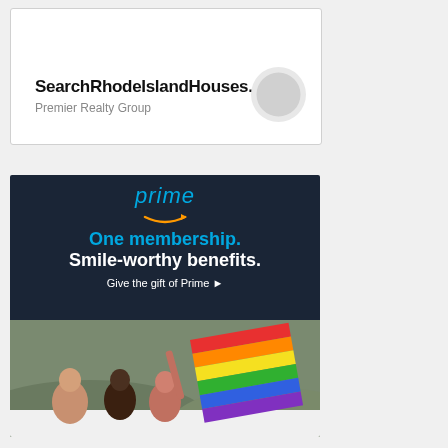[Figure (other): Advertisement for SearchRhodeIslandHouses.com by Premier Realty Group. White box with bold title and circular logo.]
[Figure (other): Amazon Prime advertisement. Dark navy top with 'prime' logo and Amazon smile arrow, text 'One membership. Smile-worthy benefits. Give the gift of Prime'. Bottom half shows photo of diverse group of young people holding a rainbow flag out of a car sunroof.]